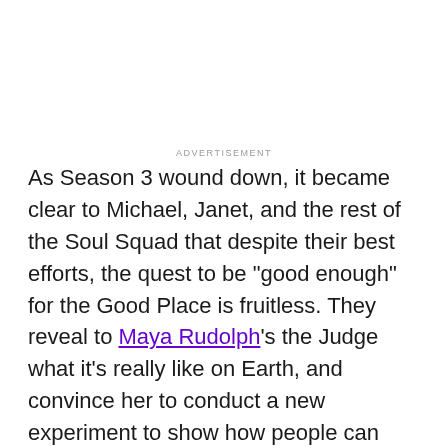ADVERTISEMENT
As Season 3 wound down, it became clear to Michael, Janet, and the rest of the Soul Squad that despite their best efforts, the quest to be "good enough" for the Good Place is fruitless. They reveal to Maya Rudolph's the Judge what it's really like on Earth, and convince her to conduct a new experiment to show how people can become better in the afterlife. Realizations like this are what makes The Good Place so unique.